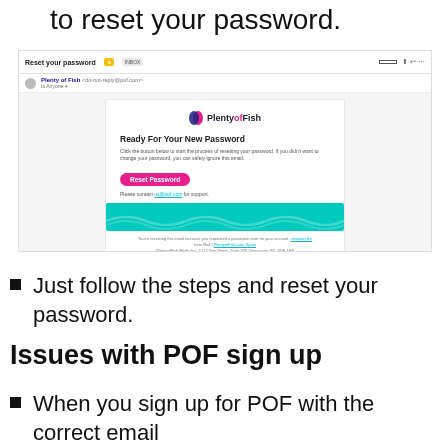to reset your password.
[Figure (screenshot): Screenshot of a Gmail inbox showing a 'Reset your password' email from PlentyofFish. The email contains a 'Reset Password' button and a teal banner at the bottom.]
Just follow the steps and reset your password.
Issues with POF sign up
When you sign up for POF with the correct email